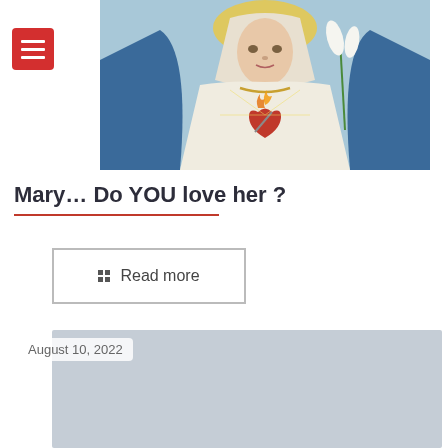[Figure (illustration): Religious illustration of the Virgin Mary (Immaculate Heart of Mary) with blue mantle, golden halo, holding a white lily, with a flaming heart on her chest. Light blue background.]
Mary… Do YOU love her ?
Read more
[Figure (photo): Partially visible card/image placeholder with grey background, dated August 10, 2022]